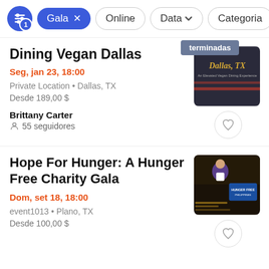Filter bar: Gala (active), Online, Data, Categoria
Dining Vegan Dallas
Seg, jan 23, 18:00
Private Location • Dallas, TX
Desde 189,00 $
Brittany Carter
55 seguidores
[Figure (photo): Event image for Dining Vegan Dallas event with gold text on dark background saying Dallas, TX]
Hope For Hunger: A Hunger Free Charity Gala
Dom, set 18, 18:00
event1013 • Plano, TX
Desde 100,00 $
[Figure (photo): Event image for Hope For Hunger charity gala showing a speaker and Hunger Free Philippines logo]